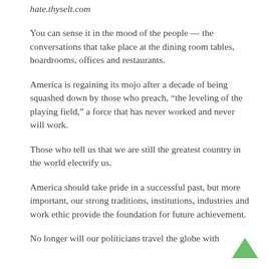hate.thyselt.com
You can sense it in the mood of the people — the conversations that take place at the dining room tables, boardrooms, offices and restaurants.
America is regaining its mojo after a decade of being squashed down by those who preach, “the leveling of the playing field,” a force that has never worked and never will work.
Those who tell us that we are still the greatest country in the world electrify us.
America should take pride in a successful past, but more important, our strong traditions, institutions, industries and work ethic provide the foundation for future achievement.
No longer will our politicians travel the globe with